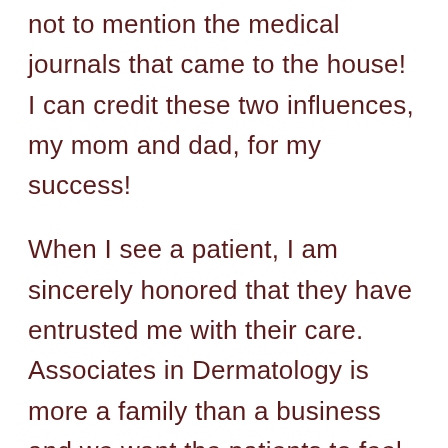not to mention the medical journals that came to the house!  I can credit these two influences, my mom and dad, for my success!
When I see a patient, I am sincerely honored that they have entrusted me with their care.  Associates in Dermatology is more a family than a business and we want the patients to feel that they are an extension of this family."